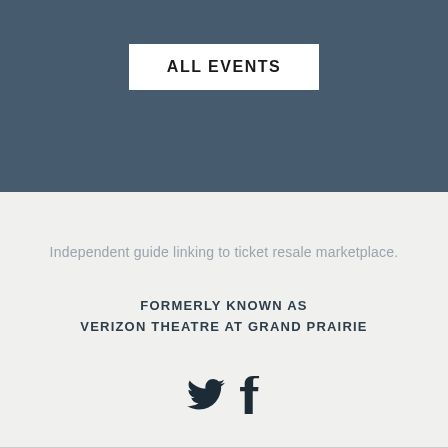[Figure (other): Dark blue-grey banner with a white button labeled ALL EVENTS]
Independent guide linking to ticket resale marketplace.
FORMERLY KNOWN AS
VERIZON THEATRE AT GRAND PRAIRIE
[Figure (other): Twitter and Facebook social media icons]